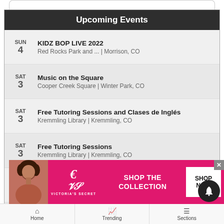Upcoming Events
SUN 4 — KIDZ BOP LIVE 2022 | Red Rocks Park and ... | Morrison, CO
SAT 3 — Music on the Square | Cooper Creek Square | Winter Park, CO
SAT 3 — Free Tutoring Sessions and Clases de Inglés | Kremmling Library | Kremmling, CO
SAT 3 — Free Tutoring Sessions | Kremmling Library | Kremmling, CO
SAT 3 — Saturday Storytime | Granby Library | Granby, CO
SAT 3 — Explorers Program
[Figure (screenshot): Victoria's Secret advertisement banner: model photo, VS logo, 'SHOP THE COLLECTION', 'SHOP NOW' button]
Home | Trending | Sections